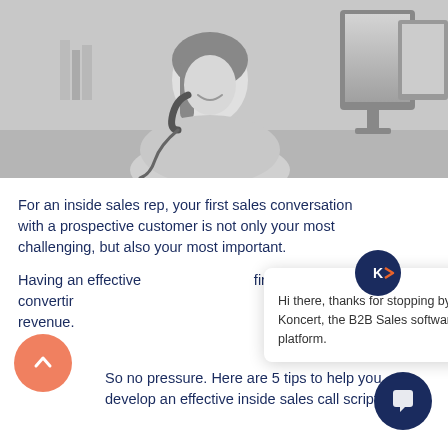[Figure (photo): Black and white photo of a smiling woman holding a telephone receiver, with computer monitors visible in the background. Office setting.]
For an inside sales rep, your first sales conversation with a prospective customer is not only your most challenging, but also your most important.
Having an effective sales call script is the first step in converting prospects into revenue.
[Figure (screenshot): Chat widget popup from Koncert showing a welcome message: 'Hi there, thanks for stopping by Koncert, the B2B Sales software platform.' with a close (X) button and the Koncert logo circle icon on top.]
So no pressure. Here are 5 tips to help you develop an effective inside sales call script: